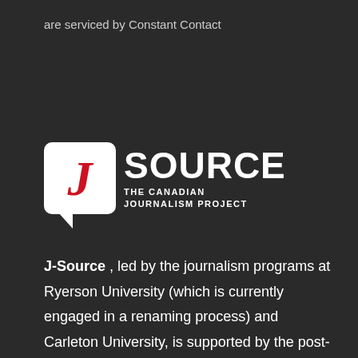are serviced by Constant Contact
[Figure (logo): J-Source logo: white speech bubble with red italic J, followed by 'SOURCE' in large bold white uppercase text, with 'THE CANADIAN JOURNALISM PROJECT' in smaller uppercase white text below]
J-Source , led by the journalism programs at Ryerson University (which is currently engaged in a renaming process) and Carleton University, is supported by the post-secondary journalism programs at member institutions of J-Schools Canada/Écoles-J Canada, the R. Howard Webster Foundation and a group of donors.